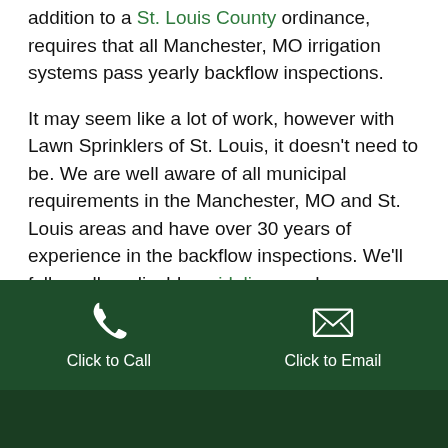addition to a St. Louis County ordinance, requires that all Manchester, MO irrigation systems pass yearly backflow inspections.
It may seem like a lot of work, however with Lawn Sprinklers of St. Louis, it doesn't need to be. We are well aware of all municipal requirements in the Manchester, MO and St. Louis areas and have over 30 years of experience in the backflow inspections. We'll follow all applicable guidelines and, as an example, file the paperwork.
Click to Call | Click to Email